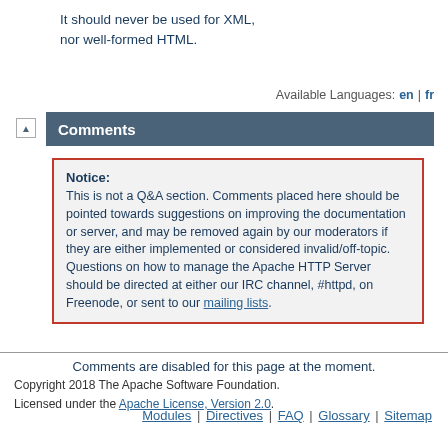It should never be used for XML, nor well-formed HTML.
Available Languages: en | fr
Comments
Notice: This is not a Q&A section. Comments placed here should be pointed towards suggestions on improving the documentation or server, and may be removed again by our moderators if they are either implemented or considered invalid/off-topic. Questions on how to manage the Apache HTTP Server should be directed at either our IRC channel, #httpd, on Freenode, or sent to our mailing lists.
Comments are disabled for this page at the moment.
Copyright 2018 The Apache Software Foundation. Licensed under the Apache License, Version 2.0.
Modules | Directives | FAQ | Glossary | Sitemap